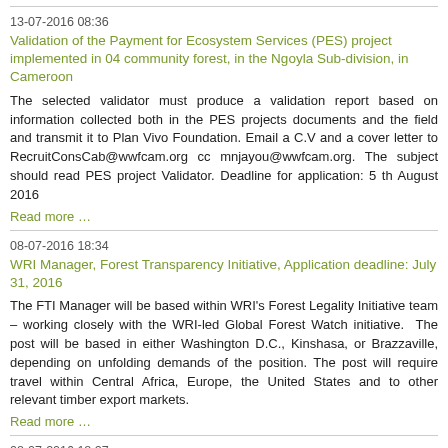13-07-2016 08:36
Validation of the Payment for Ecosystem Services (PES) project implemented in 04 community forest, in the Ngoyla Sub-division, in Cameroon
The selected validator must produce a validation report based on information collected both in the PES projects documents and the field and transmit it to Plan Vivo Foundation. Email a C.V and a cover letter to RecruitConsCab@wwfcam.org cc mnjayou@wwfcam.org. The subject should read PES project Validator. Deadline for application: 5 th August 2016
Read more …
08-07-2016 18:34
WRI Manager, Forest Transparency Initiative, Application deadline: July 31, 2016
The FTI Manager will be based within WRI's Forest Legality Initiative team – working closely with the WRI-led Global Forest Watch initiative.  The post will be based in either Washington D.C., Kinshasa, or Brazzaville, depending on unfolding demands of the position. The post will require travel within Central Africa, Europe, the United States and to other relevant timber export markets.
Read more …
08-07-2016 18:27
Nouveau concours MacArthur avec un prix de 100 millions USD pour résoudre un problème critique de notre temps.
Un nouveau concours lancé aujourd'hui attribuera une bourse de 100 millions USD à une seule proposition visant à contribuer à résoudre un problème critique qui touche les gens, les lieux, ou la planète. Le concours de la Fondation, appelé 100&Change, est ouvert aux organisations qui travaillent dans un domaine d'activité n'importe où. Les candidats doivent identifier à la